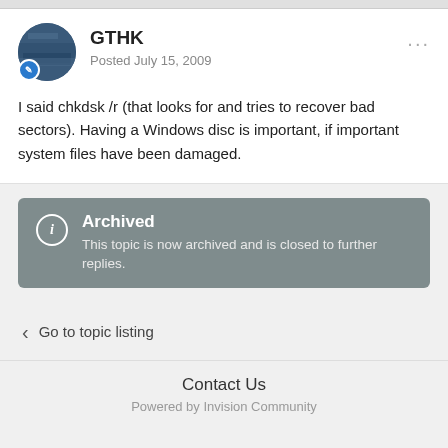GTHK
Posted July 15, 2009
I said chkdsk /r (that looks for and tries to recover bad sectors). Having a Windows disc is important, if important system files have been damaged.
Archived
This topic is now archived and is closed to further replies.
Go to topic listing
Contact Us
Powered by Invision Community